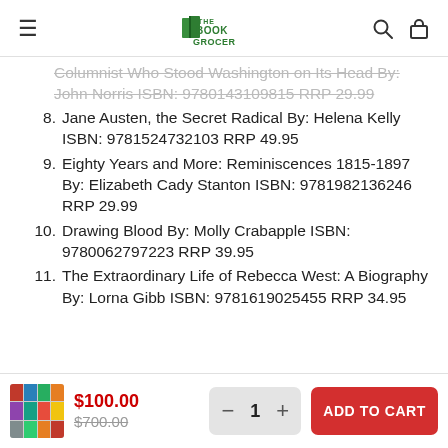The Book Grocer
Columnist Who Stood Washington on Its Head By: John Norris ISBN: 9780143109815 RRP 29.99
8. Jane Austen, the Secret Radical By: Helena Kelly ISBN: 9781524732103 RRP 49.95
9. Eighty Years and More: Reminiscences 1815-1897 By: Elizabeth Cady Stanton ISBN: 9781982136246 RRP 29.99
10. Drawing Blood By: Molly Crabapple ISBN: 9780062797223 RRP 39.95
11. The Extraordinary Life of Rebecca West: A Biography By: Lorna Gibb ISBN: 9781619025455 RRP 34.95
$100.00 $700.00 − 1 + ADD TO CART